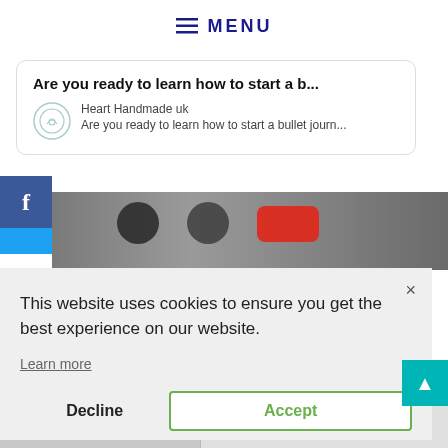≡ MENU
Are you ready to learn how to start a b...
Heart Handmade uk
Are you ready to learn how to start a bullet journ...
This website uses cookies to ensure you get the best experience on our website.
Learn more
Decline
Accept
@buioandcookies